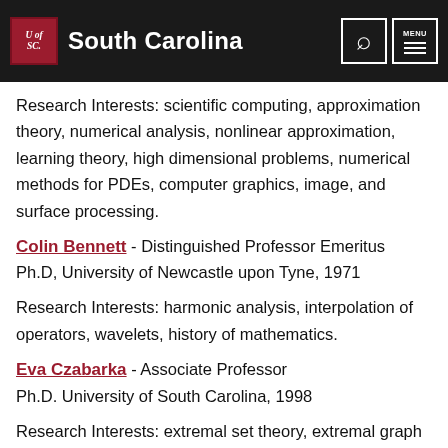University of South Carolina
Research Interests: scientific computing, approximation theory, numerical analysis, nonlinear approximation, learning theory, high dimensional problems, numerical methods for PDEs, computer graphics, image, and surface processing.
Colin Bennett - Distinguished Professor Emeritus
Ph.D, University of Newcastle upon Tyne, 1971
Research Interests: harmonic analysis, interpolation of operators, wavelets, history of mathematics.
Eva Czabarka - Associate Professor
Ph.D. University of South Carolina, 1998
Research Interests: extremal set theory, extremal graph